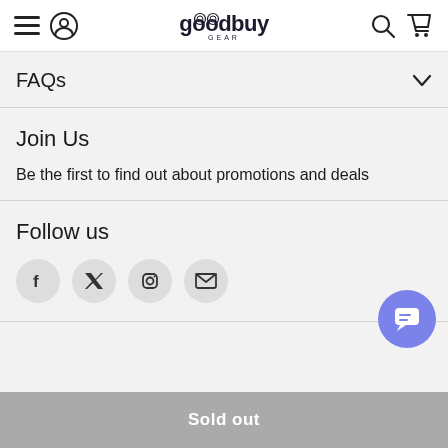goodbuy gear
FAQs
Join Us
Be the first to find out about promotions and deals
Follow us
[Figure (infographic): Social media icons: Facebook, Twitter (X), Instagram, Email]
[Figure (other): Chat support button]
Sold out